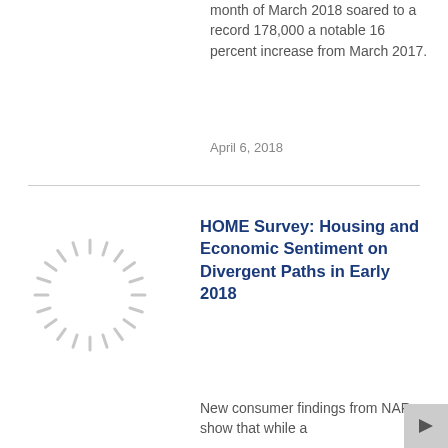month of March 2018 soared to a record 178,000 a notable 16 percent increase from March 2017.
April 6, 2018
[Figure (illustration): Loading spinner / radial lines icon in light gray]
HOME Survey: Housing and Economic Sentiment on Divergent Paths in Early 2018
New consumer findings from NAR show that while a